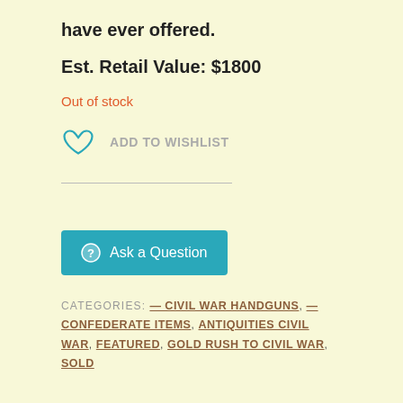have ever offered.
Est. Retail Value: $1800
Out of stock
ADD TO WISHLIST
Ask a Question
CATEGORIES: — CIVIL WAR HANDGUNS, — CONFEDERATE ITEMS, ANTIQUITIES CIVIL WAR, FEATURED, GOLD RUSH TO CIVIL WAR, SOLD